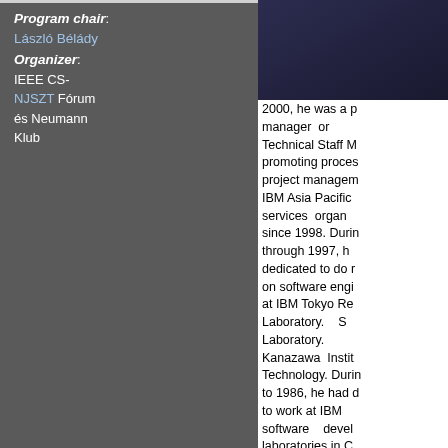Program chair: László Bélády
Organizer: IEEE CS-NJSZT Fórum és Neumann Klub
[Figure (photo): Dark portrait photo of a person, mostly dark background]
2000, he was a manager or Technical Staff M promoting process project management IBM Asia Pacific services orga since 1998. Durin through 1997, h dedicated to do r on software eng at IBM Tokyo R Laboratory. S Laboratory. Kanazawa Instit Technology. Durin to 1986, he had c to work at IBM software deve laboratories in C and New York. He IBM Japan 197 receiving Ph.D. in Physics March 19 is a member o ACM, PMI, IPS